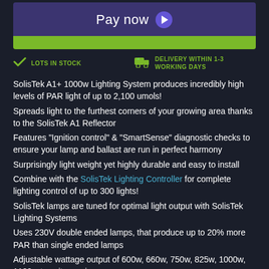[Figure (other): Pay now button with purple background and green bar below]
LOTS IN STOCK   DELIVERY WITHIN 1-3 WORKING DAYS
SolisTek A1+ 1000w Lighting System produces incredibly high levels of PAR light of up to 2,100 umols!
Spreads light to the furthest corners of your growing area thanks to the SolisTek A1 Reflector
Features "Ignition control" & "SmartSense" diagnostic checks to ensure your lamp and ballast are run in perfect harmony
Surprisingly light weight yet highly durable and easy to install
Combine with the SolisTek Lighting Controller for complete lighting control of up to 300 lights!
SolisTek lamps are tuned for optimal light output with SolisTek Lighting Systems
Uses 230V double ended lamps, that produce up to 20% more PAR than single ended lamps
Adjustable wattage output of 600w, 660w, 750w, 825w, 1000w, 1100w to suit any size grow area
Standard system includes the SolisTek 1000w 2K DE HPS Lamp